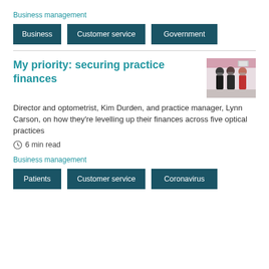Business management
Business
Customer service
Government
My priority: securing practice finances
[Figure (photo): Photo of three people standing in what appears to be an optical practice, wearing masks]
Director and optometrist, Kim Durden, and practice manager, Lynn Carson, on how they’re levelling up their finances across five optical practices
⏰ 6 min read
Business management
Patients
Customer service
Coronavirus